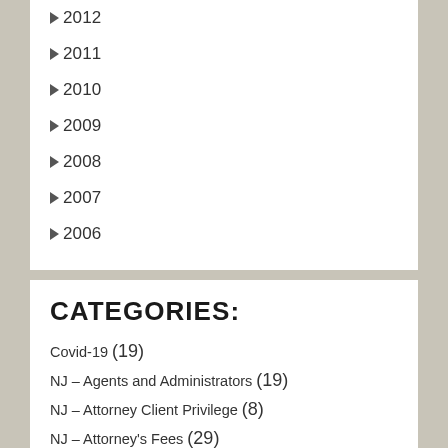► 2012
► 2011
► 2010
► 2009
► 2008
► 2007
► 2006
CATEGORIES:
Covid-19 (19)
NJ – Agents and Administrators (19)
NJ – Attorney Client Privilege (8)
NJ – Attorney's Fees (29)
NJ – Bifurcate/Sever & Stays (23)